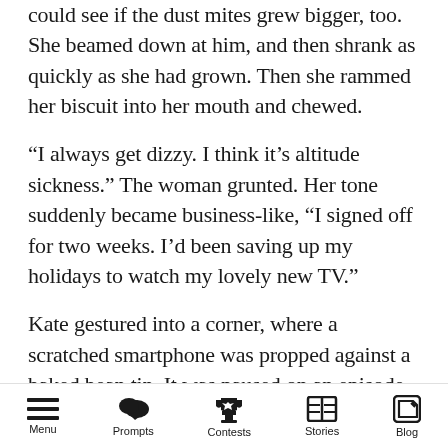could see if the dust mites grew bigger, too. She beamed down at him, and then shrank as quickly as she had grown. Then she rammed her biscuit into her mouth and chewed.
“I always get dizzy. I think it’s altitude sickness.” The woman grunted. Her tone suddenly became business-like, “I signed off for two weeks. I’d been saving up my holidays to watch my lovely new TV.”
Kate gestured into a corner, where a scratched smartphone was propped against a baked bean tin. It was paused on an episode of some reality show. A supermodel beamed out at them from a headdress made out of silver spoons. And why
Menu  Prompts  Contests  Stories  Blog